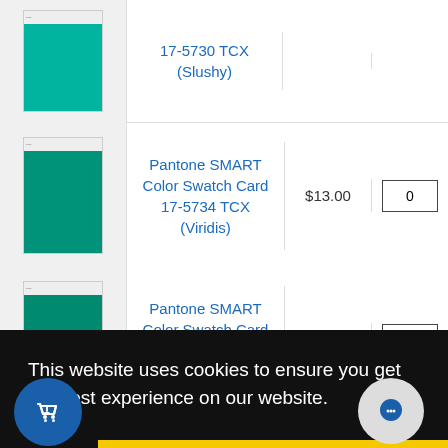| Image | Product | Price | Qty |
| --- | --- | --- | --- |
| [teal swatch] | Pantone SMART Color Swatch Card 17-5730 TCX (Slushy) |  |  |
| [green swatch] | Pantone SMART Color Swatch Card 17-5734 TCX (Viridis) | $13.00 | 0 |
| [green swatch] | Pantone SMART Color Swatch Card 17-5735 TCX (Parakeet) | $13.00 | 0 |
| [green swatch] | Pantone SMART Color Swatch Card | $13.00 | 0 |
This website uses cookies to ensure you get the best experience on our website.
Got it!